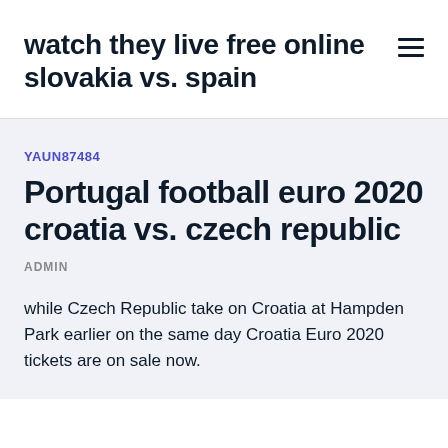watch they live free online slovakia vs. spain
YAUN87484
Portugal football euro 2020 croatia vs. czech republic
ADMIN
while Czech Republic take on Croatia at Hampden Park earlier on the same day Croatia Euro 2020 tickets are on sale now.